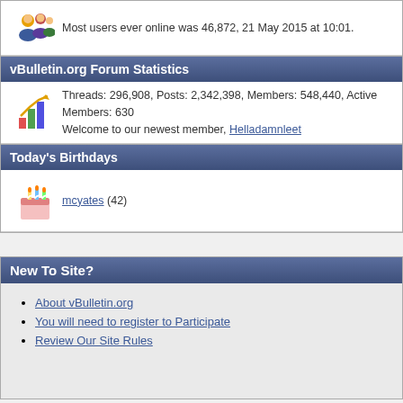Most users ever online was 46,872, 21 May 2015 at 10:01.
vBulletin.org Forum Statistics
Threads: 296,908, Posts: 2,342,398, Members: 548,440, Active Members: 630. Welcome to our newest member, Helladamnleet
Today's Birthdays
mcyates (42)
New To Site?
About vBulletin.org
You will need to register to Participate
Review Our Site Rules
All times are GL
Layout Options | Width: Wide Color:
Powered by vBulletin® Version 3.8.14
Copyright © 2022, MH Sub I, LLC dba vBulletin. All Rights Reserved. vBulletin® is a registered trad
Copyright ©2001 - 2022, vbulletin.org. All rights reserved.
vBulletin® is a registered trademark.